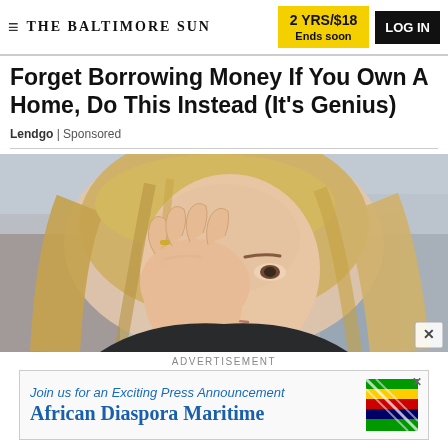THE BALTIMORE SUN | 2 YRS/$18 Ends soon | LOG IN
Forget Borrowing Money If You Own A Home, Do This Instead (It's Genius)
Lendgo | Sponsored
[Figure (photo): Woman with blonde hair touching her eye, appearing distressed, outdoors with blurred background]
ADVERTISEMENT
[Figure (other): Advertisement banner: Join us for an Exciting Press Announcement - African Diaspora Maritime, with colorful flag graphic]